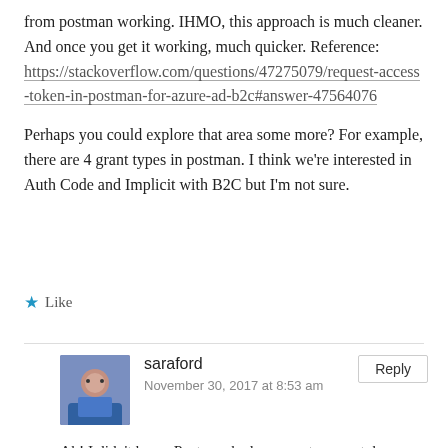from postman working. IHMO, this approach is much cleaner. And once you get it working, much quicker. Reference: https://stackoverflow.com/questions/47275079/request-access-token-in-postman-for-azure-ad-b2c#answer-47564076
Perhaps you could explore that area some more? For example, there are 4 grant types in postman. I think we're interested in Auth Code and Implicit with B2C but I'm not sure.
★ Like
saraford
November 30, 2017 at 8:53 am
Ah! I didn't know Postman had a request access token feature. Thanks for the instructions! I'll play with it and report back!